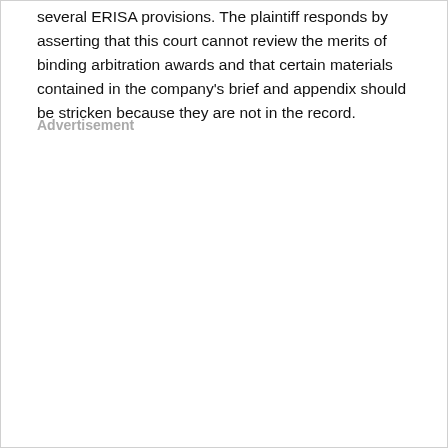several ERISA provisions. The plaintiff responds by asserting that this court cannot review the merits of binding arbitration awards and that certain materials contained in the company's brief and appendix should be stricken because they are not in the record.
Advertisement